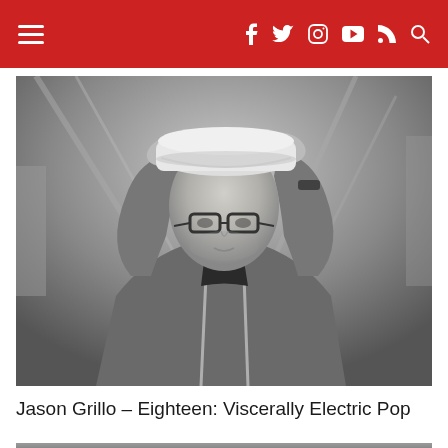Navigation bar with hamburger menu, social icons (Facebook, Twitter, Instagram, YouTube, RSS), and search icon
[Figure (photo): Black and white photo of a young man with glasses adjusting a white baseball cap, wearing a grey hoodie sweatshirt, arms raised to touch the brim of the cap]
Jason Grillo – Eighteen: Viscerally Electric Pop
28 August 2018
[Figure (photo): Partial black and white photo visible at bottom of page]